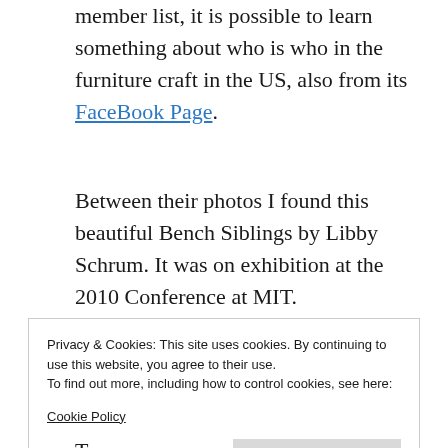member list, it is possible to learn something about who is who in the furniture craft in the US, also from its FaceBook Page.
Between their photos I found this beautiful Bench Siblings by Libby Schrum. It was on exhibition at the 2010 Conference at MIT. Unfortunately I haven't discovered Libby's own site, because I'm curious about other work she may have made.
Privacy & Cookies: This site uses cookies. By continuing to use this website, you agree to their use.
To find out more, including how to control cookies, see here:
Cookie Policy
Close and accept
T...